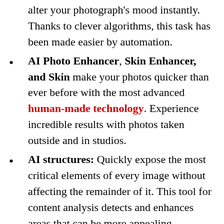alter your photograph's mood instantly. Thanks to clever algorithms, this task has been made easier by automation.
AI Photo Enhancer, Skin Enhancer, and Skin make your photos quicker than ever before with the most advanced human-made technology. Experience incredible results with photos taken outside and in studios.
AI structures: Quickly expose the most critical elements of every image without affecting the remainder of it. This tool for content analysis detects and enhances areas that can be more appealing...
Sun Rays: Luminar Keygen Create